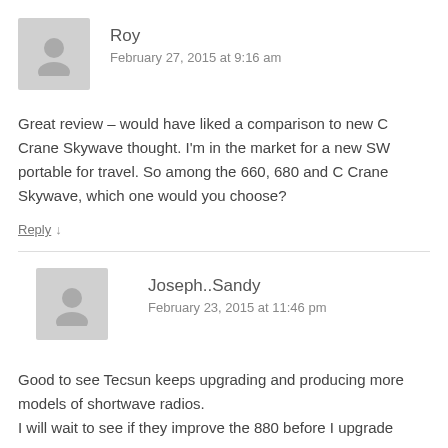Roy
February 27, 2015 at 9:16 am
Great review – would have liked a comparison to new C Crane Skywave thought. I'm in the market for a new SW portable for travel. So among the 660, 680 and C Crane Skywave, which one would you choose?
Reply ↓
Joseph..Sandy
February 23, 2015 at 11:46 pm
Good to see Tecsun keeps upgrading and producing more models of shortwave radios.
I will wait to see if they improve the 880 before I upgrade